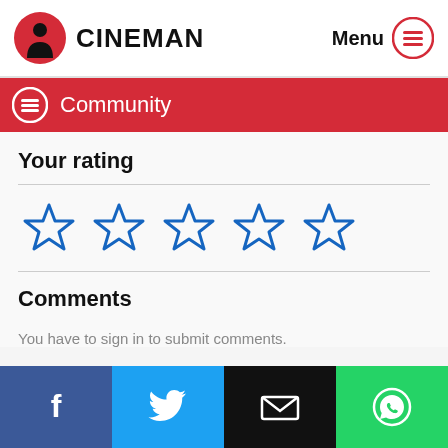CINEMAN — Menu
Community
Your rating
[Figure (other): Five empty blue star icons for rating input]
Comments
You have to sign in to submit comments.
Facebook | Twitter | Email | WhatsApp